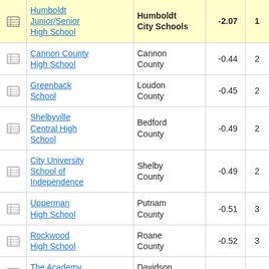|  | School | District | Score | Rank |
| --- | --- | --- | --- | --- |
| [icon] | Humboldt Junior/Senior High School | Humboldt City Schools | -2.07 | 1 |
| [icon] | Cannon County High School | Cannon County | -0.44 | 2 |
| [icon] | Greenback School | Loudon County | -0.45 | 2 |
| [icon] | Shelbyville Central High School | Bedford County | -0.49 | 2 |
| [icon] | City University School of Independence | Shelby County | -0.49 | 2 |
| [icon] | Upperman High School | Putnam County | -0.51 | 3 |
| [icon] | Rockwood High School | Roane County | -0.52 | 3 |
| [icon] | The Academy at Old Cockrill | Davidson County | -0.52 | 1 |